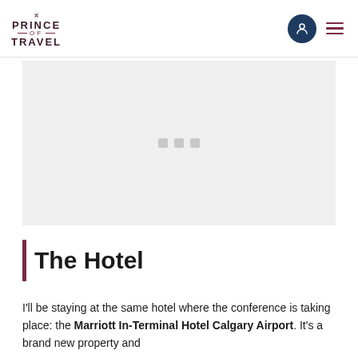PRINCE OF TRAVEL
[Figure (photo): Image carousel placeholder area showing three small square indicator dots, content image not loaded (grey background)]
The Hotel
I'll be staying at the same hotel where the conference is taking place: the Marriott In-Terminal Hotel Calgary Airport. It's a brand new property and